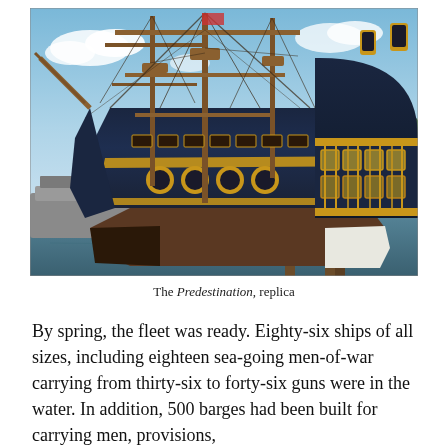[Figure (photo): A photograph of the Predestination, a replica tall sailing ship with dark blue and gold hull, docked at a waterway. The ship has multiple masts with rigging and a distinctive ornate stern gallery. A smaller modern vessel is visible alongside it.]
The Predestination, replica
By spring, the fleet was ready. Eighty-six ships of all sizes, including eighteen sea-going men-of-war carrying from thirty-six to forty-six guns were in the water. In addition, 500 barges had been built for carrying men, provisions,